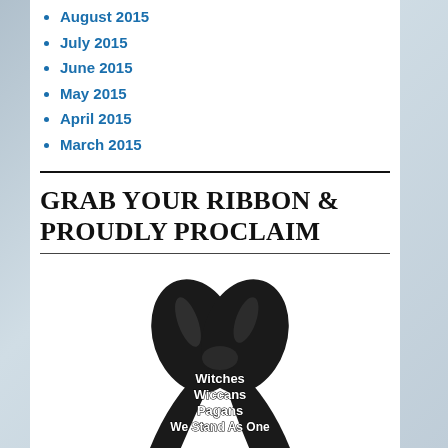August 2015
July 2015
June 2015
May 2015
April 2015
March 2015
GRAB YOUR RIBBON & PROUDLY PROCLAIM
[Figure (illustration): Black awareness ribbon with text overlay: Witches, Wiccans, Pagans, We Stand As One]